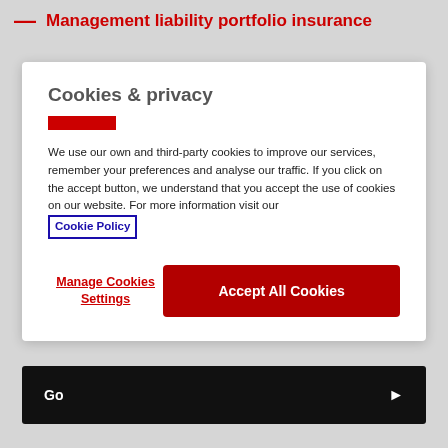— Management liability portfolio insurance
Cookies & privacy
We use our own and third-party cookies to improve our services, remember your preferences and analyse our traffic. If you click on the accept button, we understand that you accept the use of cookies on our website. For more information visit our Cookie Policy
Manage Cookies Settings
Accept All Cookies
Go